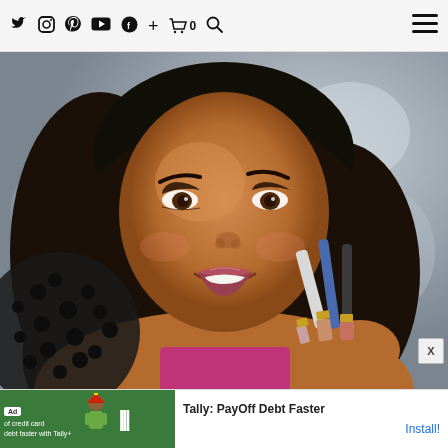Twitter Instagram Pinterest YouTube Facebook + Cart(0) Search | Menu
[Figure (photo): A smiling South Asian woman with long black hair holding several makeup brushes (lipstick and brush applicators with gold and blue handles). She wears a black polka-dot sheer top and a pink/magenta top underneath. Background is blurred grey/blue. Close X button visible at bottom right.]
[Figure (screenshot): Ad banner at bottom: Green left section with 'Ad' badge, text 'of credit card debt faster with Tally+' and white tally marks. Right white section reads 'Tally: PayOff Debt Faster' with a blue 'Install!' button.]